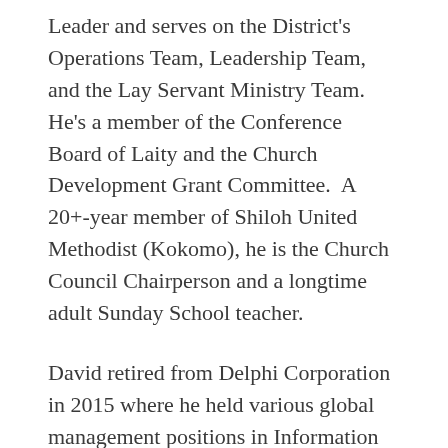Leader and serves on the District's Operations Team, Leadership Team, and the Lay Servant Ministry Team. He's a member of the Conference Board of Laity and the Church Development Grant Committee.  A 20+-year member of Shiloh United Methodist (Kokomo), he is the Church Council Chairperson and a longtime adult Sunday School teacher.
David retired from Delphi Corporation in 2015 where he held various global management positions in Information Technology. He has a B.S.B.A. from Indiana